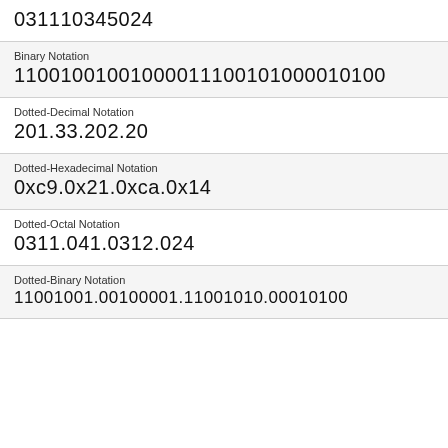031110345024
Binary Notation
11001001001000011100101000010100
Dotted-Decimal Notation
201.33.202.20
Dotted-Hexadecimal Notation
0xc9.0x21.0xca.0x14
Dotted-Octal Notation
0311.041.0312.024
Dotted-Binary Notation
11001001.00100001.11001010.00010100